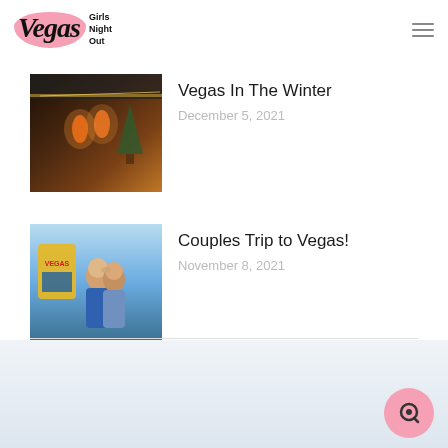Vegas Girls Night Out
Vegas In The Winter
December 5, 2021
[Figure (photo): Indoor winter holiday scene with orange lanterns and Christmas tree]
Couples Trip to Vegas!
November 8, 2021
[Figure (photo): Couple kissing in front of Las Vegas sign]